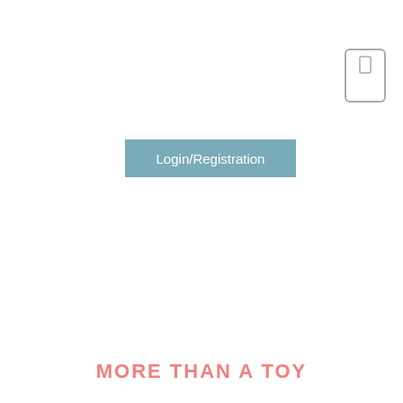[Figure (other): A small outlined rectangle icon (mobile phone / button icon) positioned in the upper right corner of the page]
Login/Registration
MORE THAN A TOY